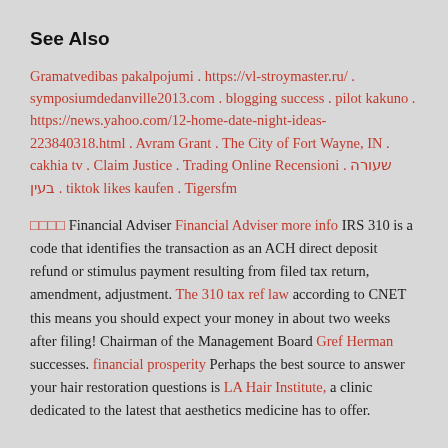See Also
Gramatvedibas pakalpojumi . https://vl-stroymaster.ru/ . symposiumdedanville2013.com . blogging success . pilot kakuno . https://news.yahoo.com/12-home-date-night-ideas-223840318.html . Avram Grant . The City of Fort Wayne, IN . cakhia tv . Claim Justice . Trading Online Recensioni . שעורה בעין . tiktok likes kaufen . Tigersfm
□□□□ Financial Adviser Financial Adviser more info IRS 310 is a code that identifies the transaction as an ACH direct deposit refund or stimulus payment resulting from filed tax return, amendment, adjustment. The 310 tax ref law according to CNET this means you should expect your money in about two weeks after filing! Chairman of the Management Board Gref Herman successes. financial prosperity Perhaps the best source to answer your hair restoration questions is LA Hair Institute, a clinic dedicated to the latest that aesthetics medicine has to offer.